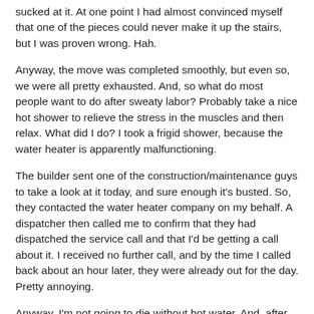sucked at it. At one point I had almost convinced myself that one of the pieces could never make it up the stairs, but I was proven wrong. Hah.
Anyway, the move was completed smoothly, but even so, we were all pretty exhausted. And, so what do most people want to do after sweaty labor? Probably take a nice hot shower to relieve the stress in the muscles and then relax. What did I do? I took a frigid shower, because the water heater is apparently malfunctioning.
The builder sent one of the construction/maintenance guys to take a look at it today, and sure enough it's busted. So, they contacted the water heater company on my behalf. A dispatcher then called me to confirm that they had dispatched the service call and that I'd be getting a call about it. I received no further call, and by the time I called back about an hour later, they were already out for the day. Pretty annoying.
Anyway, I'm not going to die without hot water. And, after taking a couple cold ones, I'm getting pretty efficient at